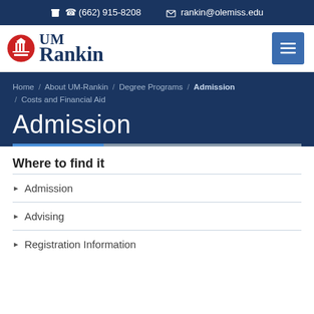(662) 915-8208   rankin@olemiss.edu
[Figure (logo): UM Rankin logo with red circle column building icon and navy blue serif text reading UM Rankin]
Home / About UM-Rankin / Degree Programs / Admission / Costs and Financial Aid
Admission
Where to find it
Admission
Advising
Registration Information